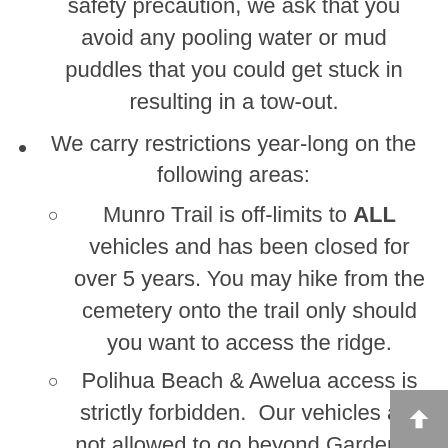safety precaution, we ask that you avoid any pooling water or mud puddles that you could get stuck in resulting in a tow-out.
We carry restrictions year-long on the following areas:
Munro Trail is off-limits to ALL vehicles and has been closed for over 5 years. You may hike from the cemetery onto the trail only should you want to access the ridge.
Polihua Beach & Awelua access is strictly forbidden.  Our vehicles are not allowed to go beyond Garden of the Gods due to deteriorated road conditions.